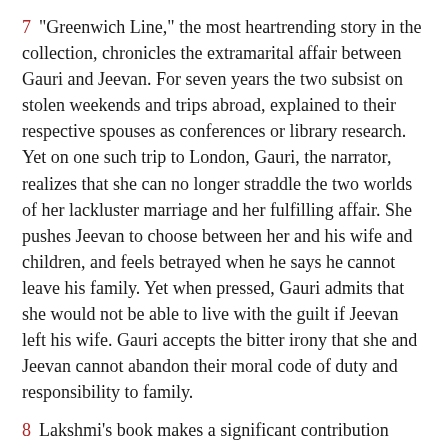7   "Greenwich Line," the most heartrending story in the collection, chronicles the extramarital affair between Gauri and Jeevan. For seven years the two subsist on stolen weekends and trips abroad, explained to their respective spouses as conferences or library research. Yet on one such trip to London, Gauri, the narrator, realizes that she can no longer straddle the two worlds of her lackluster marriage and her fulfilling affair. She pushes Jeevan to choose between her and his wife and children, and feels betrayed when he says he cannot leave his family. Yet when pressed, Gauri admits that she would not be able to live with the guilt if Jeevan left his wife. Gauri accepts the bitter irony that she and Jeevan cannot abandon their moral code of duty and responsibility to family.
8   Lakshmi's book makes a significant contribution